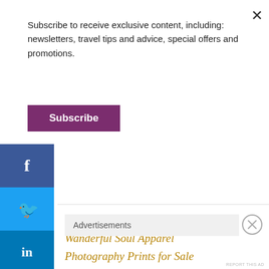Subscribe to receive exclusive content, including: newsletters, travel tips and advice, special offers and promotions.
Subscribe
About Me
Wanderful Soul Apparel
Photography Prints for Sale
Contact
Privacy Policy and Disclosure
Advertisements